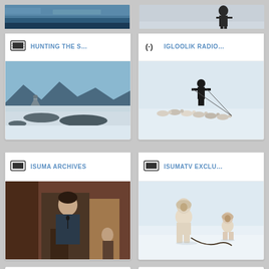[Figure (photo): Partial top image left - arctic/ocean scene]
[Figure (photo): Partial top image right - person in snow]
[Figure (screenshot): Card: HUNTING THE S... with arctic landscape with stone cairn in snow]
[Figure (screenshot): Card: IGLOOLIK RADIO... with person dog sledding on snowy tundra]
[Figure (screenshot): Card: ISUMA ARCHIVES with person speaking at podium indoors]
[Figure (screenshot): Card: ISUMATV EXCLU... with two people in traditional clothing in snow]
[Figure (screenshot): Card: ISUMATV ON TW... partial at bottom]
[Figure (screenshot): Card: KIVITOO (WHAT ... partial at bottom]